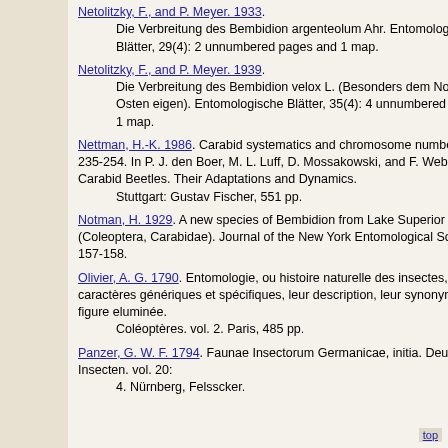Netolitzky, F., and P. Meyer. 1933. Die Verbreitung des Bembidion argenteolum Ahr. Entomologische Blätter, 29(4): 2 unnumbered pages and 1 map.
Netolitzky, F., and P. Meyer. 1939. Die Verbreitung des Bembidion velox L. (Besonders dem Norden und Osten eigen). Entomologische Blätter, 35(4): 4 unnumbered pages and 1 map.
Nettman, H.-K. 1986. Carabid systematics and chromosome numbers, pp. 235-254. In P. J. den Boer, M. L. Luff, D. Mossakowski, and F. Weber (eds.), Carabid Beetles. Their Adaptations and Dynamics. Stuttgart: Gustav Fischer, 551 pp.
Notman, H. 1929. A new species of Bembidion from Lake Superior (Coleoptera, Carabidae). Journal of the New York Entomological Society, 37: 157-158.
Olivier, A. G. 1790. Entomologie, ou histoire naturelle des insectes, avec leurs caractères génériques et spécifiques, leur description, leur synonymie et leur figure eluminée. Coléoptères. vol. 2. Paris, 485 pp.
Panzer, G. W. F. 1794. Faunae Insectorum Germanicae, initia. Deutschlands Insecten. vol. 20: 4. Nürnberg, Felsscker.